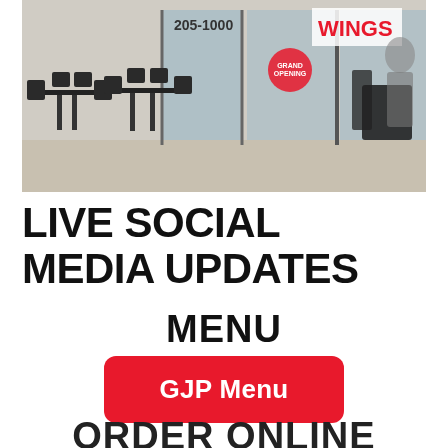[Figure (photo): Exterior/patio of a restaurant with black chairs and tables, glass storefront showing WINGS sign in red and partial phone number 205-1000]
LIVE SOCIAL MEDIA UPDATES
MENU
GJP Menu
ORDER ONLINE